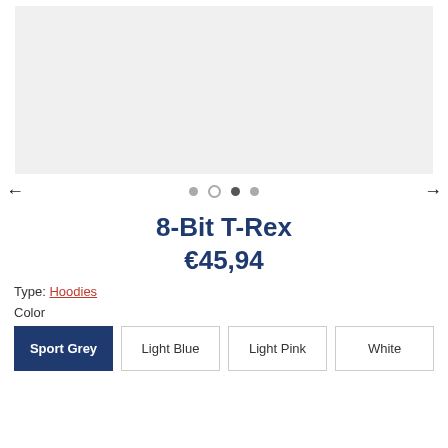[Figure (photo): Product image placeholder area (light grey background, no image visible)]
8-Bit T-Rex
€45,94
Type: Hoodies
Color
Sport Grey | Light Blue | Light Pink | White